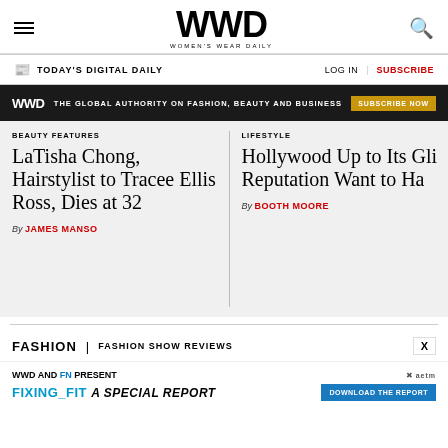WWD WOMEN'S WEAR DAILY
TODAY'S DIGITAL DAILY  LOG IN  |  SUBSCRIBE
WWD  THE GLOBAL AUTHORITY ON FASHION, BEAUTY AND BUSINESS  SUBSCRIBE NOW
BEAUTY FEATURES
LaTisha Chong, Hairstylist to Tracee Ellis Ross, Dies at 32
By JAMES MANSO
LIFESTYLE
Hollywood Up to Its Gli Reputation Want to Ha
By BOOTH MOORE
FASHION  |  FASHION SHOW REVIEWS
WWD AND FN PRESENT
FIXING_FIT A SPECIAL REPORT  DOWNLOAD THE REPORT